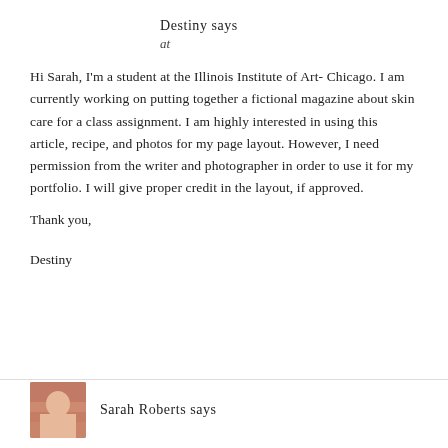Destiny says
at
Hi Sarah, I'm a student at the Illinois Institute of Art- Chicago. I am currently working on putting together a fictional magazine about skin care for a class assignment. I am highly interested in using this article, recipe, and photos for my page layout. However, I need permission from the writer and photographer in order to use it for my portfolio. I will give proper credit in the layout, if approved.
Thank you,
Destiny
Sarah Roberts says